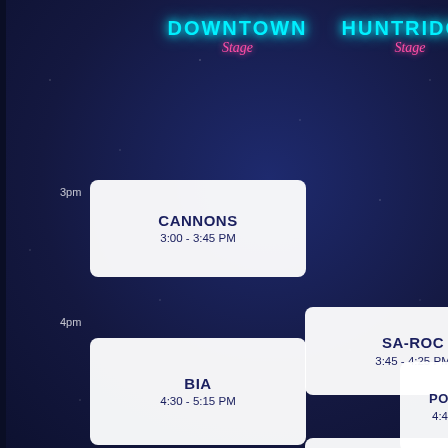DOWNTOWN Stage
HUNTRIDGE Stage
BACARDI Stage
3pm
| Artist | Time | Stage |
| --- | --- | --- |
| CANNONS | 3:00 - 3:45 PM | Downtown |
| SA-ROC | 3:45 - 4:25 PM | Huntridge |
| BIA | 4:30 - 5:15 PM | Downtown |
| POORST... | 4:40 - 5:30 | Bacardi |
| ANT CLEMONS | 5:15 - 5:55 PM | Huntridge |
| BRITTANY HOWARD | 6:00 - 6:50 PM | Downtown |
| REMI WO... | 6:00 - 6:50 | Bacardi |
| TEDDY SWIMS | 6:50 - 7:30 PM | Huntridge |
| ASHNIK... | 7:20 - 8:10 | Bacardi |
| LANY |  | Downtown |